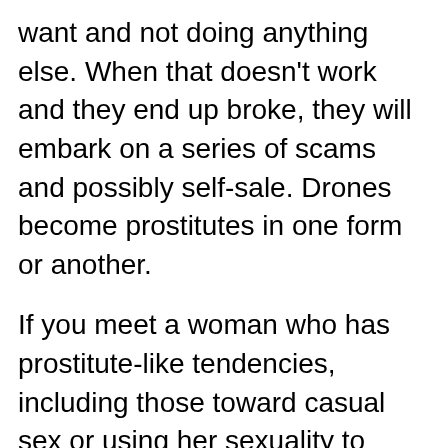want and not doing anything else. When that doesn't work and they end up broke, they will embark on a series of scams and possibly self-sale. Drones become prostitutes in one form or another.
If you meet a woman who has prostitute-like tendencies, including those toward casual sex or using her sexuality to manipulate others, watch out. You have found yourself a parasite-becoming-prostitute. She knows nothing except her own desires. You have now become the person to pay for those desires.